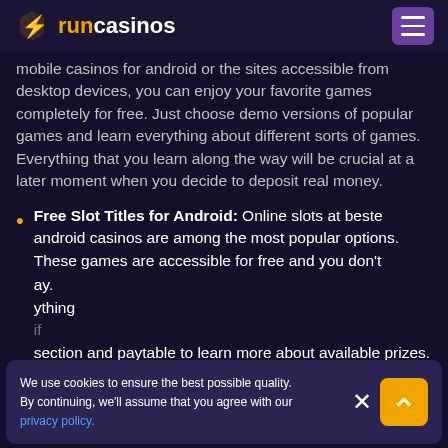runcasinos
mobile casinos for android or the sites accessible from desktop devices, you can enjoy your favorite games completely for free. Just choose demo versions of popular games and learn everything about different sorts of games. Everything that you learn along the way will be crucial at a later moment when you decide to deposit real money.
Free Slot Titles for Android: Online slots at beste android casinos are among the most popular options. These games are accessible for free and you don't [partial text] ay. [partial text] ything [partial text] if [section and paytable to learn more about available prizes.]
We use cookies to ensure the best possible quality. By continuing, we'll assume that you agree with our privacy policy.